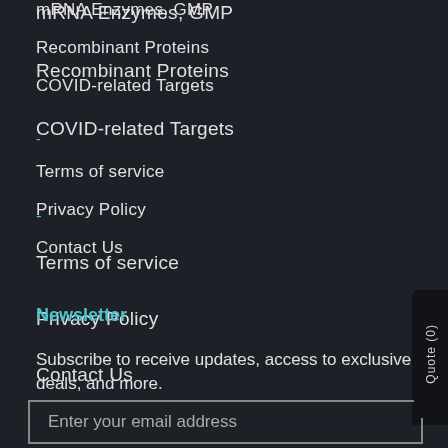mRNA Enzymes, GMP
Recombinant Proteins
COVID-related Targets
-
Terms of service
Privacy Policy
Contact Us
Newsletter
Subscribe to receive updates, access to exclusive deals, and more.
Enter your email address